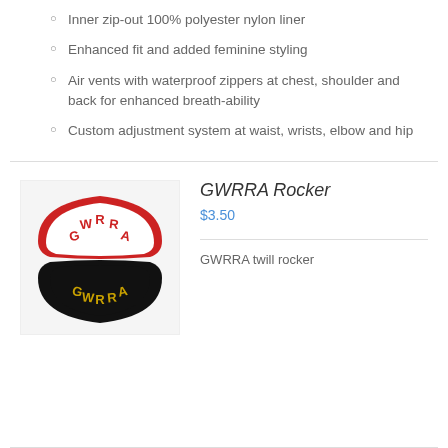Inner zip-out 100% polyester nylon liner
Enhanced fit and added feminine styling
Air vents with waterproof zippers at chest, shoulder and back for enhanced breath-ability
Custom adjustment system at waist, wrists, elbow and hip
GWRRA Rocker
$3.50
[Figure (photo): Two GWRRA rocker patches - one red and white arched patch on top, one black and gold arched patch below]
GWRRA twill rocker